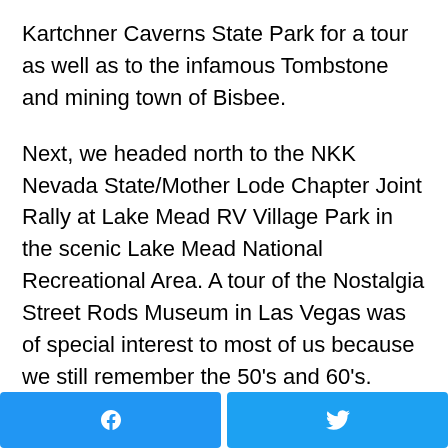Kartchner Caverns State Park for a tour as well as to the infamous Tombstone and mining town of Bisbee.
Next, we headed north to the NKK Nevada State/Mother Lode Chapter Joint Rally at Lake Mead RV Village Park in the scenic Lake Mead National Recreational Area. A tour of the Nostalgia Street Rods Museum in Las Vegas was of special interest to most of us because we still remember the 50's and 60's.
It is time to plan and sign up for the winter, spring